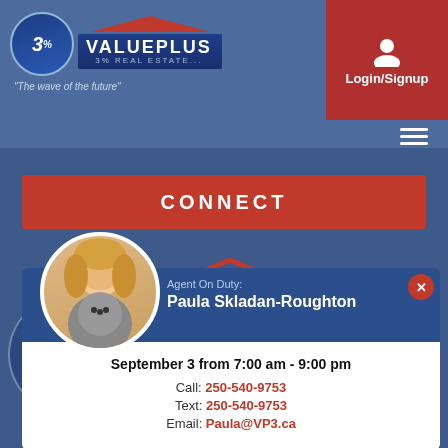[Figure (screenshot): 3% ValuePlus Real Estate website header with logo and Login/Signup button]
CONNECT
Agent On Duty:
Paula Skladan-Roughton
September 3 from 7:00 am - 9:00 pm
Call: 250-540-9753
Text: 250-540-9753
Email: Paula@VP3.ca